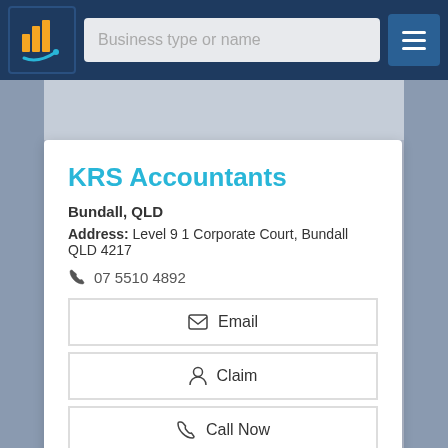Business type or name
KRS Accountants
Bundall, QLD
Address: Level 9 1 Corporate Court, Bundall QLD 4217
07 5510 4892
Email
Claim
Call Now
View Details